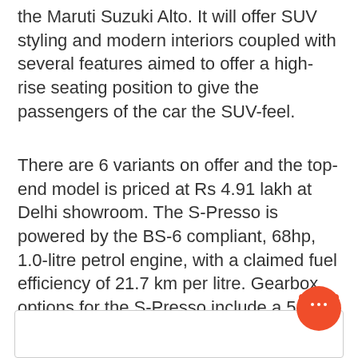the Maruti Suzuki Alto. It will offer SUV styling and modern interiors coupled with several features aimed to offer a high-rise seating position to give the passengers of the car the SUV-feel.
There are 6 variants on offer and the top-end model is priced at Rs 4.91 lakh at Delhi showroom. The S-Presso is powered by the BS-6 compliant, 68hp, 1.0-litre petrol engine, with a claimed fuel efficiency of 21.7 km per litre. Gearbox options for the S-Presso include a 5-speed manual or AMT and four trim levels.